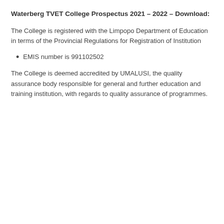Waterberg TVET College Prospectus 2021 – 2022 – Download:
The College is registered with the Limpopo Department of Education in terms of the Provincial Regulations for Registration of Institution
EMIS number is 991102502
The College is deemed accredited by UMALUSI, the quality assurance body responsible for general and further education and training institution, with regards to quality assurance of programmes.